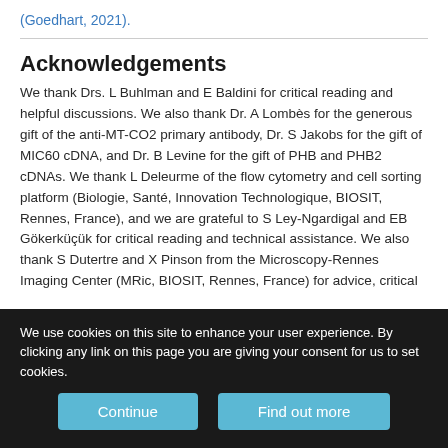(Goedhart, 2021).
Acknowledgements
We thank Drs. L Buhlman and E Baldini for critical reading and helpful discussions. We also thank Dr. A Lombès for the generous gift of the anti-MT-CO2 primary antibody, Dr. S Jakobs for the gift of MIC60 cDNA, and Dr. B Levine for the gift of PHB and PHB2 cDNAs. We thank L Deleurme of the flow cytometry and cell sorting platform (Biologie, Santé, Innovation Technologique, BIOSIT, Rennes, France), and we are grateful to S Ley-Ngardigal and EB Gökerküçük for critical reading and technical assistance. We also thank S Dutertre and X Pinson from the Microscopy-Rennes Imaging Center (MRic, BIOSIT, Rennes, France) for advice, critical
We use cookies on this site to enhance your user experience. By clicking any link on this page you are giving your consent for us to set cookies.